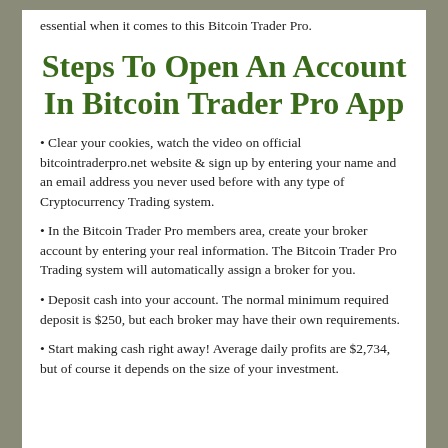essential when it comes to this Bitcoin Trader Pro.
Steps To Open An Account In Bitcoin Trader Pro App
Clear your cookies, watch the video on official bitcointraderpro.net website & sign up by entering your name and an email address you never used before with any type of Cryptocurrency Trading system.
In the Bitcoin Trader Pro members area, create your broker account by entering your real information. The Bitcoin Trader Pro Trading system will automatically assign a broker for you.
Deposit cash into your account. The normal minimum required deposit is $250, but each broker may have their own requirements.
Start making cash right away! Average daily profits are $2,734, but of course it depends on the size of your investment.